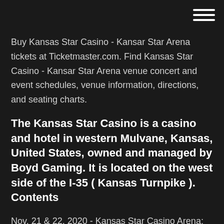[hamburger menu icon]
Buy Kansas Star Casino - Kansar Star Arena tickets at Ticketmaster.com. Find Kansas Star Casino - Kansar Star Arena venue concert and event schedules, venue information, directions, and seating charts.
The Kansas Star Casino is a casino and hotel in western Mulvane, Kansas, United States, owned and managed by Boyd Gaming. It is located on the west side of the I-35 ( Kansas Turnpike ). Contents
Nov. 21 & 22, 2020 - Kansas Star Casino Arena; Dec. 19 & 20, 2020 - Kansas Star Casino Arena ; 2021. Every 3rd Weekend of every month in 2021 at the Kansas Star My husband and I stayed at the Hampton Inn at the Kansas Star Casino. He went and played golf and I gambled. What a